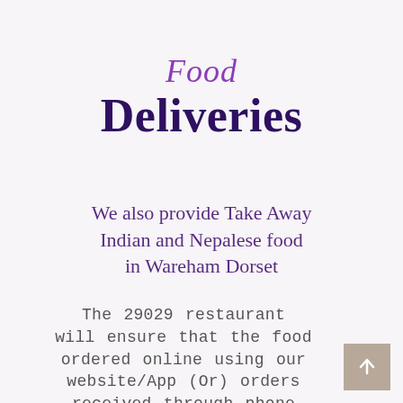Food Deliveries
We also provide Take Away Indian and Nepalese food in Wareham Dorset
The 29029 restaurant will ensure that the food ordered online using our website/App (Or) orders received through phone calls will be delivered around 45 minutes from